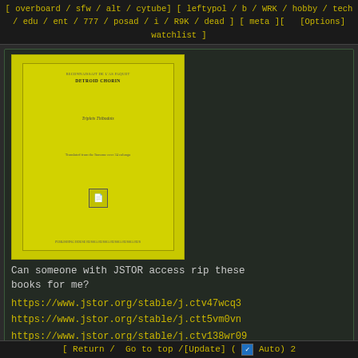[ overboard / sfw / alt / cytube] [ leftypol / b / WRK / hobby / tech / edu / ent / 777 / posad / i / R9K / dead ] [ meta ][ [Options] watchlist ]
[Figure (photo): Yellow/chartreuse book cover thumbnail showing a book with small text title and author, a small logo/icon, and publisher information at the bottom]
Can someone with JSTOR access rip these books for me?
https://www.jstor.org/stable/j.ctv47wcq3
https://www.jstor.org/stable/j.ctt5vm0vn
https://www.jstor.org/stable/j.ctv138wr09
Anonymous 2021-05-05 (Wed) 12:41:19 No.8303 >>8304
>>8300
>not on libgen or aaaaarg and sci-hub has been restricted by court order for many